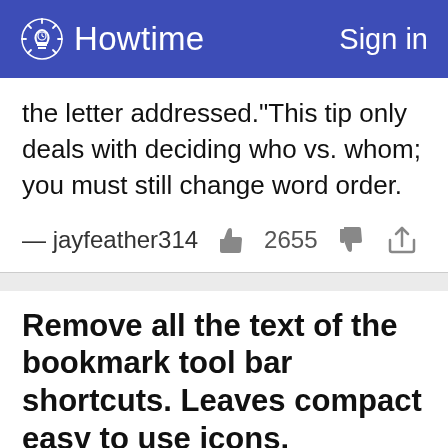Howtime   Sign in
the letter addressed."This tip only deals with deciding who vs. whom; you must still change word order.
— jayfeather314   2655
Remove all the text of the bookmark tool bar shortcuts. Leaves compact easy to use icons.